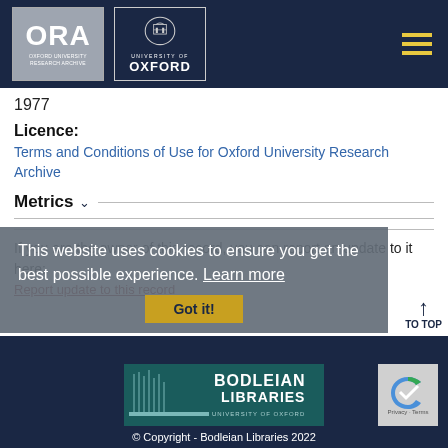ORA - Oxford University Research Archive / University of Oxford
1977
Licence:
Terms and Conditions of Use for Oxford University Research Archive
Metrics
If you are the owner of this record, you can report an update to it here:
Report update to this record
This website uses cookies to ensure you get the best possible experience. Learn more
© Copyright - Bodleian Libraries 2022